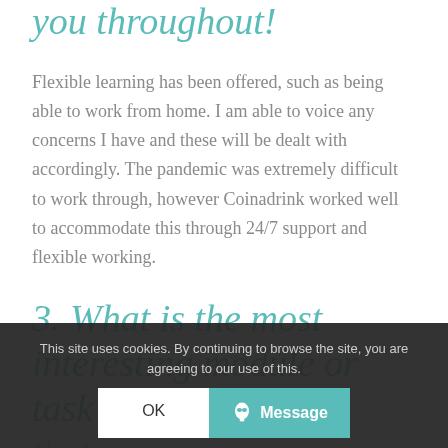you throughout!
Flexible learning has been offered, such as being able to work from home. I am able to voice any concerns I have and these will be dealt with accordingly. The pandemic was extremely difficult to work through, however Coinadrink worked well to accommodate this through 24/7 support and flexible working.
3. What is the most interesting module or task that you have completed to date? Can
This site uses cookies. By continuing to browse the site, you are agreeing to our use of this.
OK
Message